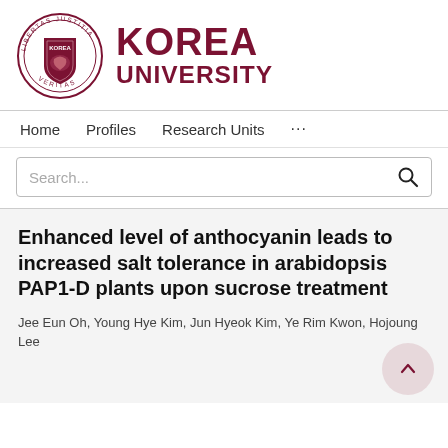[Figure (logo): Korea University logo with circular seal and text 'KOREA UNIVERSITY' in dark red/maroon]
Home   Profiles   Research Units   ...
Search...
Enhanced level of anthocyanin leads to increased salt tolerance in arabidopsis PAP1-D plants upon sucrose treatment
Jee Eun Oh, Young Hye Kim, Jun Hyeok Kim, Ye Rim Kwon, Hojoung Lee